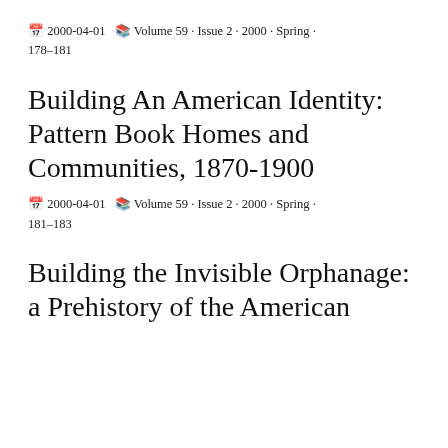2000-04-01  Volume 59 · Issue 2 · 2000 · Spring · 178–181
Building An American Identity: Pattern Book Homes and Communities, 1870-1900
2000-04-01  Volume 59 · Issue 2 · 2000 · Spring · 181–183
Building the Invisible Orphanage: a Prehistory of the American